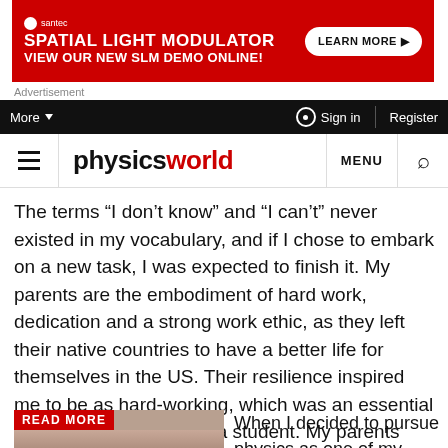[Figure (other): Santec advertisement banner — red background with text 'SPATIAL LIGHT MODULATOR VIEW OUR NEW SLM DEMO ONLINE!' and a 'LEARN MORE' button]
Advertisement
More ▼   Sign in   Register
physicsworld  MENU  🔍
The terms “I don’t know” and “I can’t” never existed in my vocabulary, and if I chose to embark on a new task, I was expected to finish it. My parents are the embodiment of hard work, dedication and a strong work ethic, as they left their native countries to have a better life for themselves in the US. Their resilience inspired me to be as hard-working, which was an essential factor in my success as a student. My parents knew my potential to attain the impossible, because they had done the impossible themselves.
[Figure (photo): Photo of a woman with dark hair]
When I decided to pursue physics as one of my majors at Mount